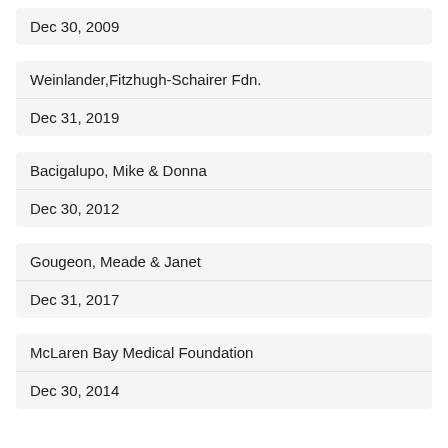Dec 30, 2009
Weinlander,Fitzhugh-Schairer Fdn.
Dec 31, 2019
Bacigalupo, Mike & Donna
Dec 30, 2012
Gougeon, Meade & Janet
Dec 31, 2017
McLaren Bay Medical Foundation
Dec 30, 2014